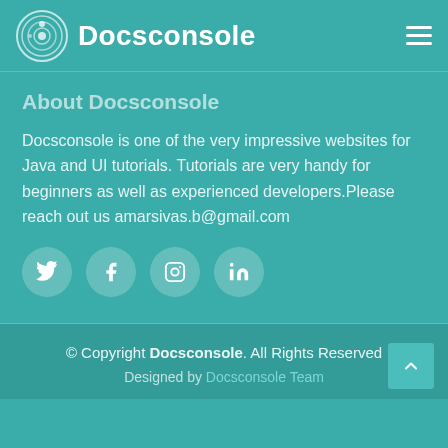Docsconsole
About Docsconsole
Docsconsole is one of the very impressive websites for Java and UI tutorials. Tutorials are very handy for beginners as well as experienced developers.Please reach out us amarsivas.b@gmail.com
[Figure (other): Social media icons row: Twitter, Facebook, Instagram, LinkedIn]
© Copyright Docsconsole. All Rights Reserved
Designed by Docsconsole Team